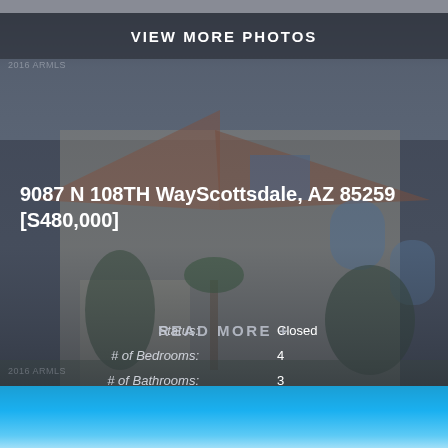[Figure (photo): Exterior photo of a two-story beige stucco house with red tile roof, arched windows, two-car garage, palm trees and landscaping in Scottsdale, AZ. Image has a dark semi-transparent overlay.]
VIEW MORE PHOTOS
9087 N 108TH WayScottsdale, AZ 85259
[S480,000]
| Label | Value |
| --- | --- |
| Status: | Closed |
| # of Bedrooms: | 4 |
| # of Bathrooms: | 3 |
| Year Built: | 1992 |
| Subdivision: | Scottsdale Ranch |
READ MORE +